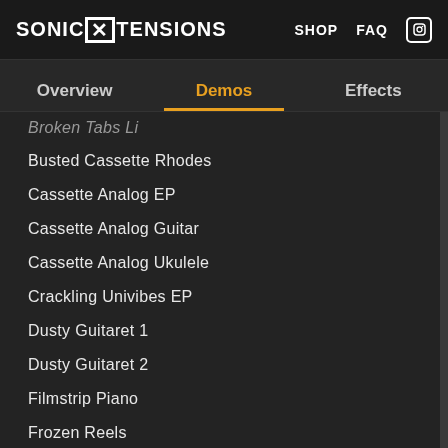SONIC EXTENSIONS — SHOP FAQ
Overview | Demos | Effects
Broken Tabs LI
Busted Cassette Rhodes
Cassette Analog EP
Cassette Analog Guitar
Cassette Analog Ukulele
Crackling Univibes EP
Dusty Guitaret 1
Dusty Guitaret 2
Filmstrip Piano
Frozen Reels
Gentle Keys
Guitar Roll Back Keys
Harpsi Keys
Hoary Piano